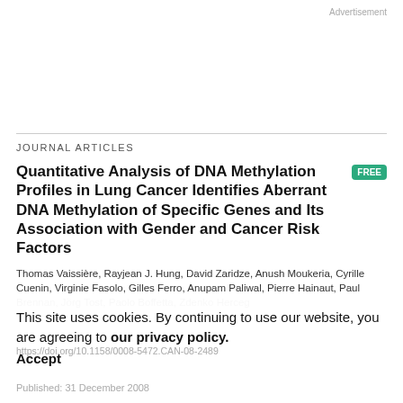Advertisement
JOURNAL ARTICLES
Quantitative Analysis of DNA Methylation Profiles in Lung Cancer Identifies Aberrant DNA Methylation of Specific Genes and Its Association with Gender and Cancer Risk Factors
Thomas Vaissière, Rayjean J. Hung, David Zaridze, Anush Moukeria, Cyrille Cuenin, Virginie Fasolo, Gilles Ferro, Anupam Paliwal, Pierre Hainaut, Paul Brennan, Jörg Tost, Paolo Boffetta, Zdenko Herceg
This site uses cookies. By continuing to use our website, you are agreeing to our privacy policy. Accept
https://doi.org/10.1158/0008-5472.CAN-08-2489
Published: 31 December 2008